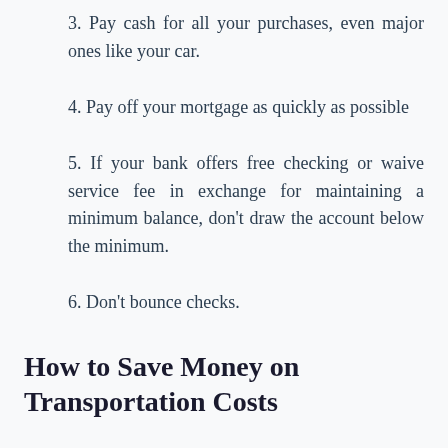3. Pay cash for all your purchases, even major ones like your car.
4. Pay off your mortgage as quickly as possible
5. If your bank offers free checking or waive service fee in exchange for maintaining a minimum balance, don’t draw the account below the minimum.
6. Don’t bounce checks.
How to Save Money on Transportation Costs